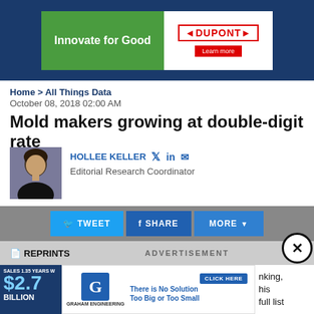[Figure (screenshot): DuPont advertisement banner: green background with 'Innovate for Good' text, DuPont logo in red border, Learn more button]
Home > All Things Data
October 08, 2018 02:00 AM
Mold makers growing at double-digit rate
HOLLEE KELLER  Editorial Research Coordinator
[Figure (screenshot): Social share bar with TWEET, SHARE, and MORE buttons on gray background]
REPRINTS   ADVERTISEMENT
[Figure (screenshot): Graham Engineering advertisement: logo, 'There is No Solution Too Big or Too Small', CLICK HERE button, machinery image]
nking, his full list